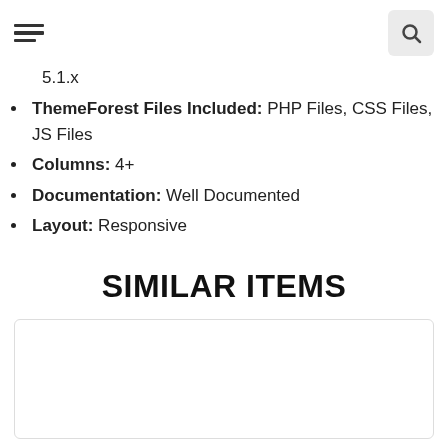5.1.x
ThemeForest Files Included: PHP Files, CSS Files, JS Files
Columns: 4+
Documentation: Well Documented
Layout: Responsive
SIMILAR ITEMS
[Figure (other): Empty card placeholder for similar items]